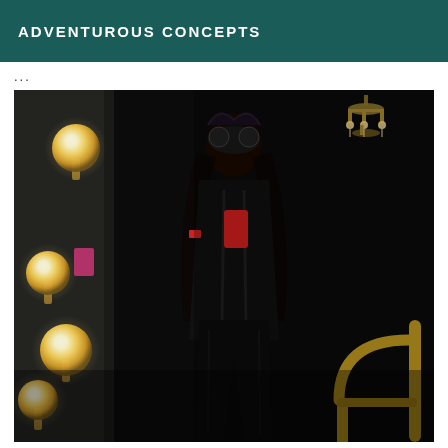ADVENTUROUS CONCEPTS
...
[Figure (photo): Person dressed in a black shiny leather outfit with a masquerade mask, taking a mirror selfie with a red phone case. The setting is a dark, moody room with a vanity mirror lined with bright round bulbs on the left side, a chandelier visible in the upper right, and gold metal railings in the lower right corner.]